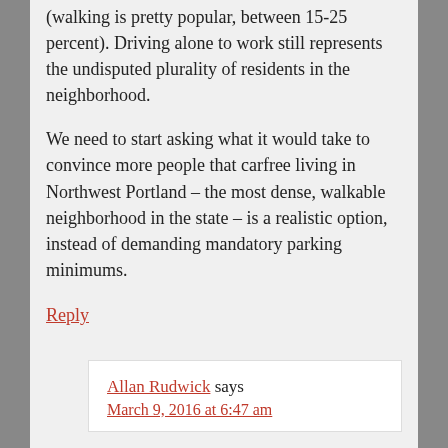(walking is pretty popular, between 15-25 percent). Driving alone to work still represents the undisputed plurality of residents in the neighborhood.

We need to start asking what it would take to convince more people that carfree living in Northwest Portland – the most dense, walkable neighborhood in the state – is a realistic option, instead of demanding mandatory parking minimums.
Reply
Allan Rudwick says
March 9, 2016 at 6:47 am